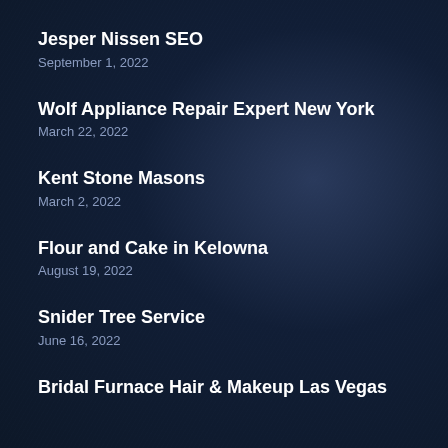Jesper Nissen SEO
September 1, 2022
Wolf Appliance Repair Expert New York
March 22, 2022
Kent Stone Masons
March 2, 2022
Flour and Cake in Kelowna
August 19, 2022
Snider Tree Service
June 16, 2022
Bridal Furnace Hair & Makeup Las Vegas